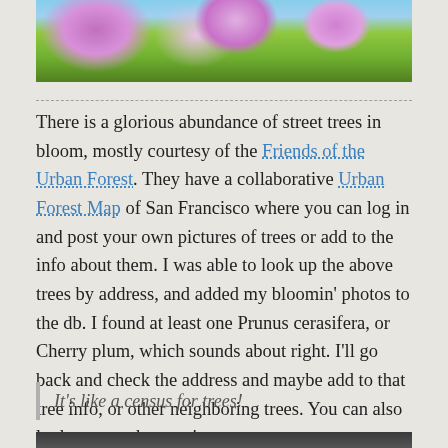[Figure (photo): Street scene with blooming trees, pink/purple blossoms visible against sky and urban buildings]
There is a glorious abundance of street trees in bloom, mostly courtesy of the Friends of the Urban Forest. They have a collaborative Urban Forest Map of San Francisco where you can log in and post your own pictures of trees or add to the info about them. I was able to look up the above trees by address, and added my bloomin' photos to the db. I found at least one Prunus cerasifera, or Cherry plum, which sounds about right. I'll go back and check the address and maybe add to that tree info, or other neighboring trees. You can also look up trees by species.
It's like a census for trees!
[Figure (photo): Partial photo visible at bottom of page, dark tones]